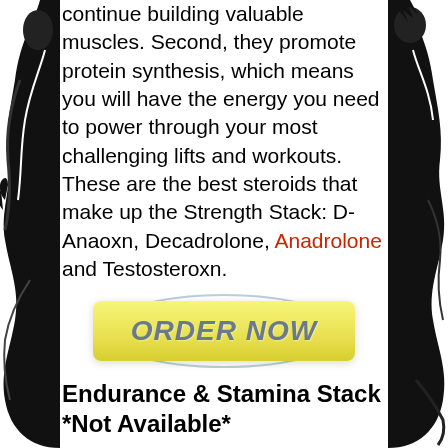continue building valuable muscles. Second, they promote protein synthesis, which means you will have the energy you need to power through your most challenging lifts and workouts. These are the best steroids that make up the Strength Stack: D-Anaoxn, Decadrolone, Anadrolone and Testosteroxn.
[Figure (other): Yellow ORDER NOW button with oval/ellipse border decoration]
Endurance & Stamina Stack *Not Available*
When